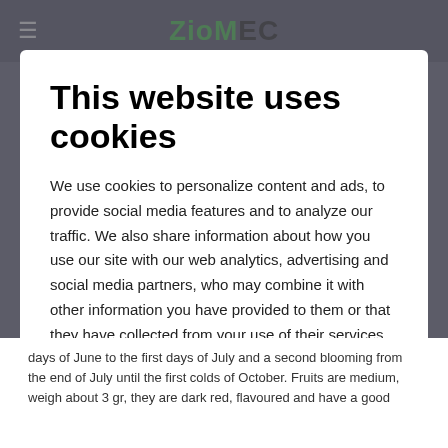ZioMEC website header with hamburger menu and logo
This website uses cookies
We use cookies to personalize content and ads, to provide social media features and to analyze our traffic. We also share information about how you use our site with our web analytics, advertising and social media partners, who may combine it with other information you have provided to them or that they have collected from your use of their services. Customize
Accept
Reject all
days of June to the first days of July and a second blooming from the end of July until the first colds of October. Fruits are medium, weigh about 3 gr, they are dark red, flavoured and have a good